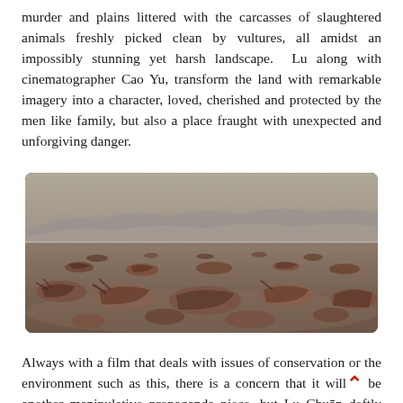murder and plains littered with the carcasses of slaughtered animals freshly picked clean by vultures, all amidst an impossibly stunning yet harsh landscape. Lu along with cinematographer Cao Yu, transform the land with remarkable imagery into a character, loved, cherished and protected by the men like family, but also a place fraught with unexpected and unforgiving danger.
[Figure (photo): Landscape photograph showing a barren desert plain scattered with the carcasses of slaughtered animals, with misty mountains visible in the background under an overcast sky.]
Always with a film that deals with issues of conservation or the environment such as this, there is a concern that it will be another manipulative propaganda piece, but Lu Chuan deftly treats the material with an even hand. The patrolmen aren't saints who can do no wrong, and the